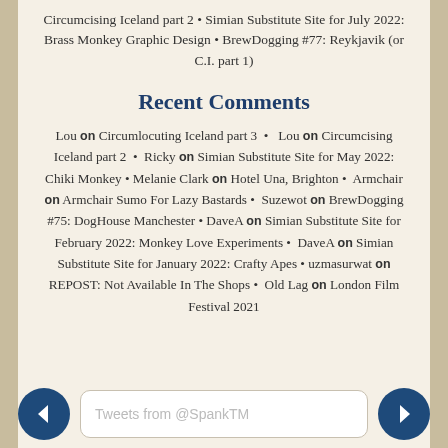Circumcising Iceland part 2 • Simian Substitute Site for July 2022: Brass Monkey Graphic Design • BrewDogging #77: Reykjavik (or C.I. part 1)
Recent Comments
Lou on Circumlocuting Iceland part 3 • Lou on Circumcising Iceland part 2 • Ricky on Simian Substitute Site for May 2022: Chiki Monkey • Melanie Clark on Hotel Una, Brighton • Armchair on Armchair Sumo For Lazy Bastards • Suzewot on BrewDogging #75: DogHouse Manchester • DaveA on Simian Substitute Site for February 2022: Monkey Love Experiments • DaveA on Simian Substitute Site for January 2022: Crafty Apes • uzmasurwat on REPOST: Not Available In The Shops • Old Lag on London Film Festival 2021
Tweets from @SpankTM